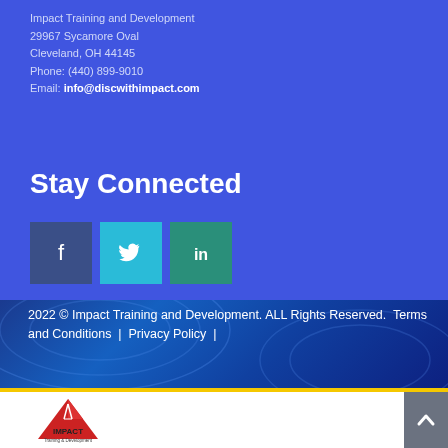Impact Training and Development
29967 Sycamore Oval
Cleveland, OH 44145
Phone: (440) 899-9010
Email: info@discwithimpact.com
Stay Connected
[Figure (illustration): Three social media icon buttons: Facebook (dark blue), Twitter (light blue), LinkedIn (teal/green)]
2022 © Impact Training and Development. ALL Rights Reserved.  Terms and Conditions  |  Privacy Policy  |
[Figure (logo): Impact Training & Development logo — red triangular shape with IMPACT text]